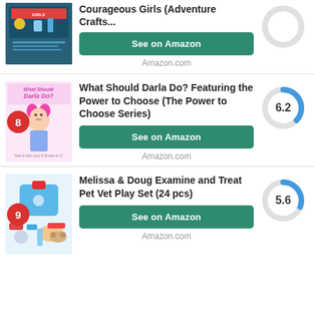[Figure (illustration): Book cover for Courageous Girls Adventure Crafts with blue background and craft/activity imagery]
Courageous Girls (Adventure Crafts...
See on Amazon
Amazon.com
[Figure (donut-chart): Donut chart with no score shown, grey ring, partial top view]
[Figure (illustration): Book cover for What Should Darla Do? Featuring the Power to Choose (The Power to Choose Series) - cartoon girl with pink hair]
8
What Should Darla Do? Featuring the Power to Choose (The Power to Choose Series)
See on Amazon
Amazon.com
[Figure (donut-chart): Score 6.2]
[Figure (illustration): Book cover for Melissa & Doug Examine and Treat Pet Vet Play Set showing toy medical kit for pets]
9
Melissa & Doug Examine and Treat Pet Vet Play Set (24 pcs)
See on Amazon
Amazon.com
[Figure (donut-chart): Score 5.6]